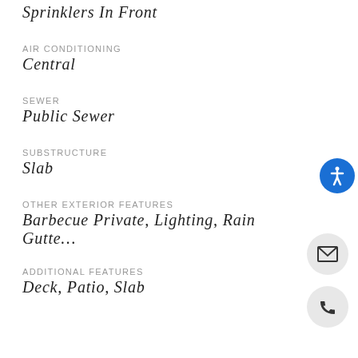Sprinklers In Front
AIR CONDITIONING
Central
SEWER
Public Sewer
SUBSTRUCTURE
Slab
OTHER EXTERIOR FEATURES
Barbecue Private, Lighting, Rain Gutte…
ADDITIONAL FEATURES
Deck, Patio, Slab